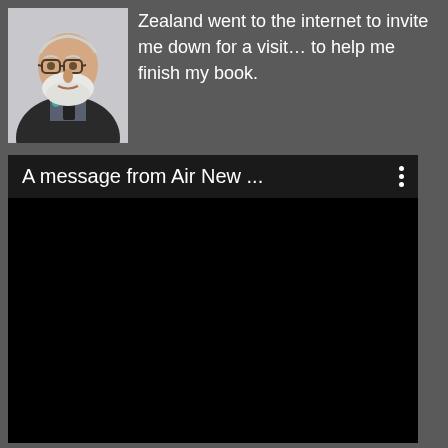[Figure (photo): Portrait photo of a heavyset older man with white beard and glasses, wearing a dark jacket with a small teal/green pin, against a light background.]
Zealand went to the internet to invite me down for a visit… to help me finish my book.
[Figure (screenshot): A video player screenshot showing a black video area with title bar reading 'A message from Air New ...' and a three-dot menu icon on the right.]